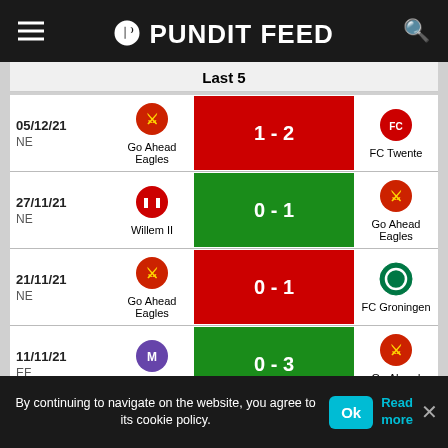Pundit Feed
Last 5
| Date/Comp | Home | Score | Away |
| --- | --- | --- | --- |
| 05/12/21 NE | Go Ahead Eagles | 1 - 2 | FC Twente |
| 27/11/21 NE | Willem II | 0 - 1 | Go Ahead Eagles |
| 21/11/21 NE | Go Ahead Eagles | 0 - 1 | FC Groningen |
| 11/11/21 EF | SV Meppen | 0 - 3 | Go Ahead Eagles |
| 07/11/21 NE | Ajax | 0 - 0 | Go Ahead Eagles |
By continuing to navigate on the website, you agree to its cookie policy.